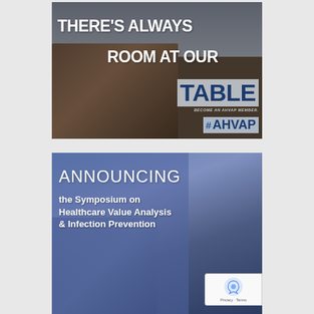[Figure (illustration): AHVAP membership promotional banner showing a modern meeting room with chairs and a table. Text overlay reads: THERE'S ALWAYS ROOM AT OUR TABLE. BECOME AN AHVAP MEMBER. #AHVAP logo shown with hashtag symbol.]
[Figure (illustration): Symposium announcement banner with blurred keyboard/medical devices background. Text reads: ANNOUNCING the Symposium on Healthcare Value Analysis & Infection Prevention. reCAPTCHA Privacy-Terms badge visible in lower right.]